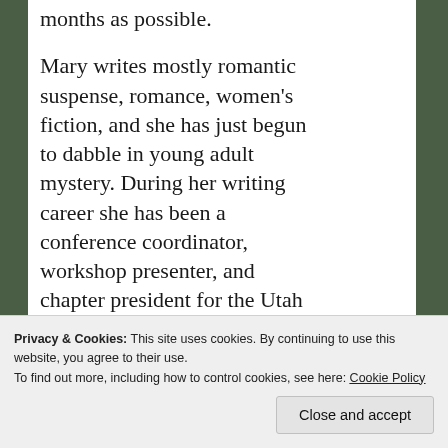months as possible.

Mary writes mostly romantic suspense, romance, women's fiction, and she has just begun to dabble in young adult mystery. During her writing career she has been a conference coordinator, workshop presenter, and chapter president for the Utah
Privacy & Cookies: This site uses cookies. By continuing to use this website, you agree to their use.
To find out more, including how to control cookies, see here: Cookie Policy

Close and accept